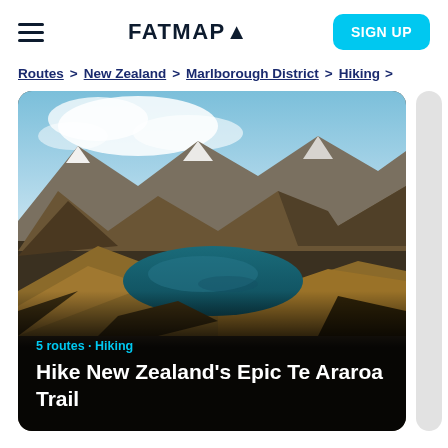FATMAP▲
Routes > New Zealand > Marlborough District > Hiking
[Figure (photo): Aerial landscape photo of a volcanic crater lake surrounded by mountains with brown tussock slopes and snowy peaks under a partly cloudy blue sky. New Zealand alpine scenery for the Te Araroa Trail.]
5 routes · Hiking
Hike New Zealand's Epic Te Araroa Trail